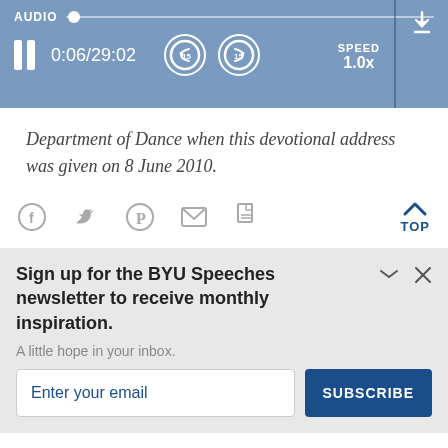[Figure (screenshot): Audio player bar with progress track, pause button, time display 0:06/29:02, skip back 15s, skip forward 15s, speed 1.0x, and download button.]
Department of Dance when this devotional address was given on 8 June 2010.
[Figure (screenshot): Social sharing icons: Facebook, Twitter, Pinterest, Email, Print, and a blue TOP arrow button.]
Sign up for the BYU Speeches newsletter to receive monthly inspiration.
A little hope in your inbox.
Enter your email  SUBSCRIBE